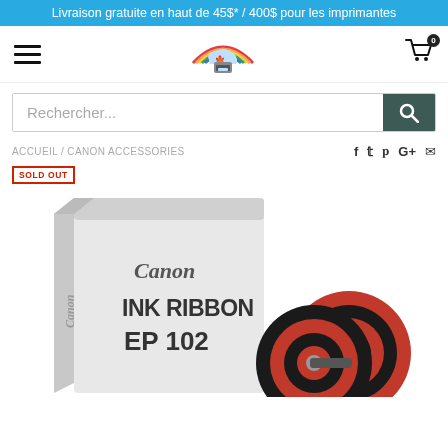Livraison gratuite en haut de 45$* / 400$ pour les imprimantes
[Figure (logo): E-cartouche.ca website header with hamburger menu, rainbow/cloud/printer logo, and shopping cart icon with badge 0]
Rechercher...
ACCUEIL / CANON ACCESSORIES
SOLD OUT
[Figure (photo): Canon Ink Ribbon EP 102 product photo showing white box with Canon branding and two ink ribbon spools (black and red) beside it]